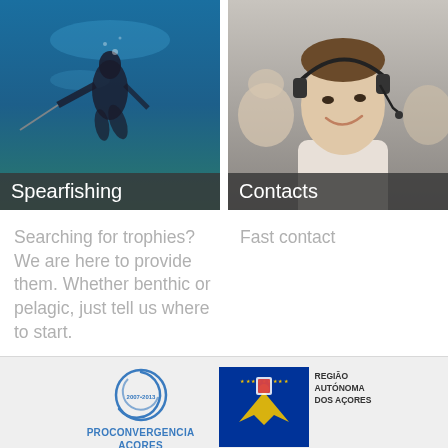[Figure (photo): Spearfisher diving underwater in blue ocean]
[Figure (photo): Customer service representative with headset smiling]
Searching for trophies? We are here to provide them. Whether benthic or pelagic, just tell us where to start.
Fast contact
[Figure (logo): PROCONVERGENCIA AÇORES logo with circular graphic]
[Figure (logo): Região Autónoma dos Açores flag with bird]
[Figure (logo): União Europeia EU flag - Fundo Europeu de Desenvolvimento Regional]